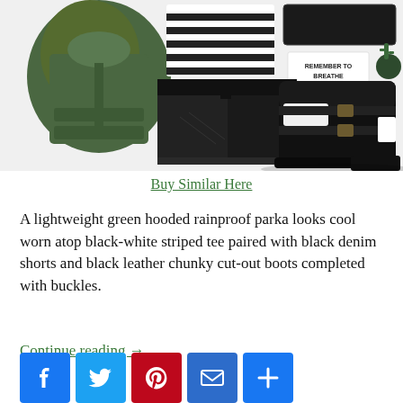[Figure (photo): Fashion collage showing a green hooded parka, black-white striped tee, black denim cutoff shorts, black leather chunky cut-out buckle boots, a green military watch, a black clutch bag, safety pins, a cactus ring, and a 'Remember to Breathe' text card.]
Buy Similar Here
A lightweight green hooded rainproof parka looks cool worn atop black-white striped tee paired with black denim shorts and black leather chunky cut-out boots completed with buckles.
Continue reading →
[Figure (infographic): Social sharing buttons: Facebook, Twitter, Pinterest, Email, Share]